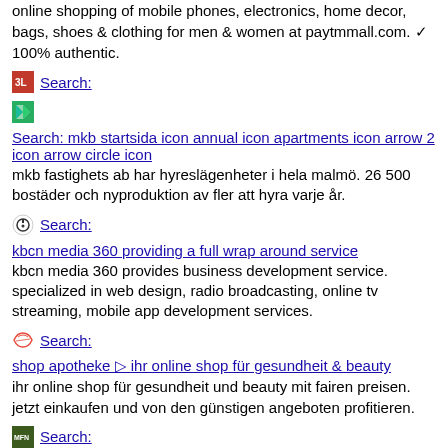online shopping of mobile phones, electronics, home decor, bags, shoes & clothing for men & women at paytmmall.com. ✓ 100% authentic.
Search: (paytm icon)
Search: mkb startsida icon annual icon apartments icon arrow 2 icon arrow circle icon
mkb fastighets ab har hyreslägenheter i hela malmö. 26 500 bostäder och nyproduktion av fler att hyra varje år.
Search: kbcn media 360 providing a full wrap around service
kbcn media 360 provides business development service. specialized in web design, radio broadcasting, online tv streaming, mobile app development services.
Search: shop apotheke ▷ ihr online shop für gesundheit & beauty
ihr online shop für gesundheit und beauty mit fairen preisen. jetzt einkaufen und von den günstigen angeboten profitieren.
Search: online shop des naturkundemuseums berlin naturkundemuseum-shop